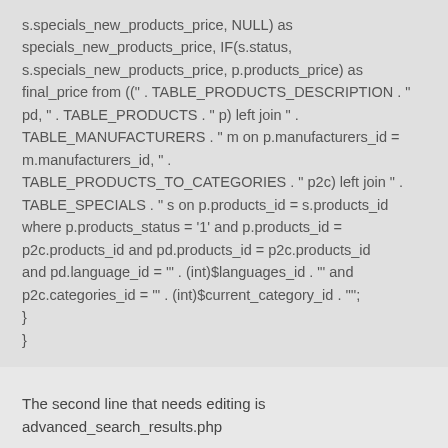s.specials_new_products_price, NULL) as specials_new_products_price, IF(s.status, s.specials_new_products_price, p.products_price) as final_price from ((" . TABLE_PRODUCTS_DESCRIPTION . " pd, " . TABLE_PRODUCTS . " p) left join " . TABLE_MANUFACTURERS . " m on p.manufacturers_id = m.manufacturers_id, " . TABLE_PRODUCTS_TO_CATEGORIES . " p2c) left join " . TABLE_SPECIALS . " s on p.products_id = s.products_id where p.products_status = '1' and p.products_id = p2c.products_id and pd.products_id = p2c.products_id and pd.language_id = '" . (int)$languages_id . "' and p2c.categories_id = '" . (int)$current_category_id . '"';
}
}
The second line that needs editing is advanced_search_results.php